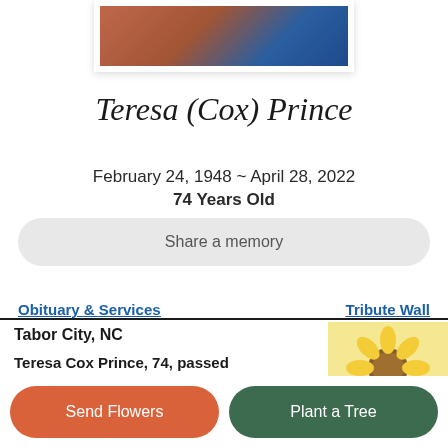[Figure (photo): Partial portrait photo of Teresa (Cox) Prince, cropped at top of page showing clothing in red/orange and blue tones]
Teresa (Cox) Prince
February 24, 1948 ~ April 28, 2022
74 Years Old
Share a memory
Obituary & Services
Tribute Wall
Tabor City, NC
Teresa Cox Prince, 74, passed away on Thursday, April 28, 2022. She was
[Figure (photo): Sunflower photo used as decorative image in obituary section]
Send Flowers
Plant a Tree